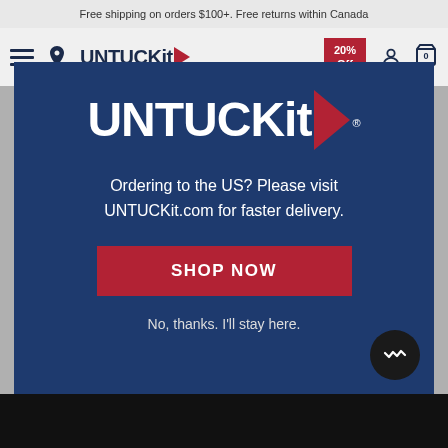Free shipping on orders $100+. Free returns within Canada
[Figure (screenshot): UNTUCKit website navigation bar with hamburger menu, location pin, UNTUCKit logo with red triangle, 20% Off promo banner, user account icon, and cart icon with 0 items]
[Figure (screenshot): UNTUCKit modal popup with dark blue background. Contains UNTUCKit logo in white with red triangle, text 'Ordering to the US? Please visit UNTUCKit.com for faster delivery.', a red SHOP NOW button, and 'No, thanks. I'll stay here.' dismiss link. Chat button in bottom right corner.]